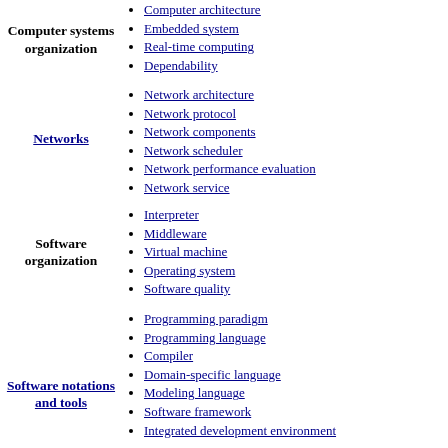Computer systems organization
Computer architecture
Embedded system
Real-time computing
Dependability
Networks
Network architecture
Network protocol
Network components
Network scheduler
Network performance evaluation
Network service
Software organization
Interpreter
Middleware
Virtual machine
Operating system
Software quality
Software notations and tools
Programming paradigm
Programming language
Compiler
Domain-specific language
Modeling language
Software framework
Integrated development environment